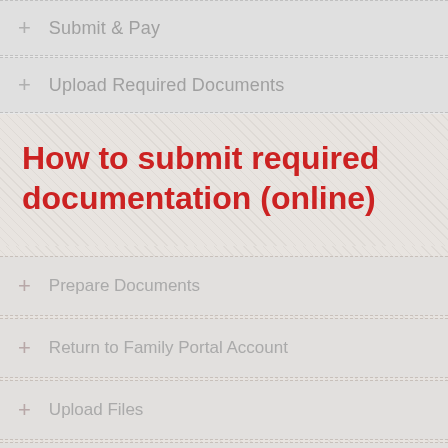+ Submit & Pay
+ Upload Required Documents
How to submit required documentation (online)
+ Prepare Documents
+ Return to Family Portal Account
+ Upload Files
+ Submit Files
+ Mailing in Documents